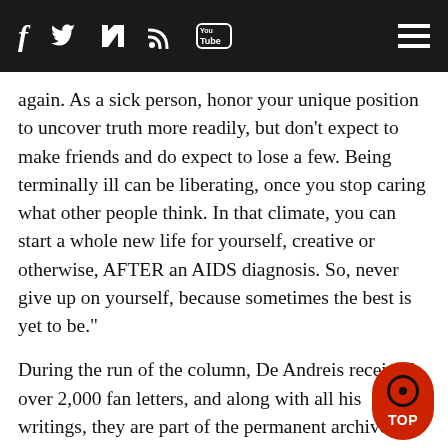f [twitter] [rss] [youtube] [menu]
again. As a sick person, honor your unique position to uncover truth more readily, but don't expect to make friends and do expect to lose a few. Being terminally ill can be liberating, once you stop caring what other people think. In that climate, you can start a whole new life for yourself, creative or otherwise, AFTER an AIDS diagnosis. So, never give up on yourself, because sometimes the best is yet to be."
During the run of the column, De Andreis received over 2,000 fan letters, and along with all his writings, they are part of the permanent archive at the GLBT Historical Society in San Francisco.
In a March 15, 1995 column he wrote, "It's so twisted and surreal having anonymous readers know so much about